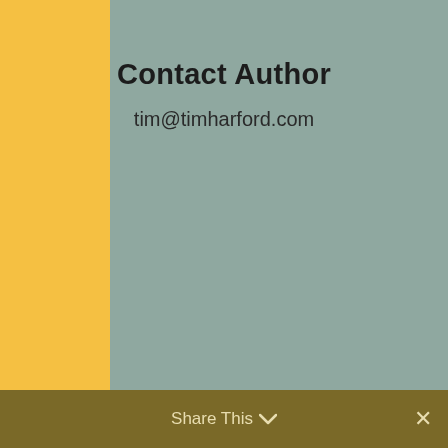Contact Author
tim@timharford.com
[Figure (infographic): Row of four orange square social media icon buttons: Facebook (f), Twitter (bird), RSS feed, YouTube (play button)]
Receive New Posts by Email
Share This  ✕